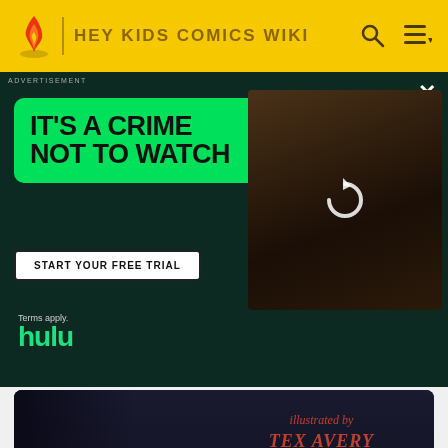HEY KIDS COMICS WIKI
[Figure (screenshot): Hulu advertisement overlay on dark background. Green box with text 'IT'S A CRIME NOT TO WATCH', white CTA button 'START YOUR FREE TRIAL', Hulu logo in green, 'Terms apply.' text, and photo of a person in a library on the right side.]
ADVERTISEMENT
IT'S A CRIME NOT TO WATCH
START YOUR FREE TRIAL
Terms apply.
hulu
[Figure (screenshot): Little 'Tinker MGM cartoon title card with dark background, animated character silhouette, and red italic text reading 'illustrated by TEX AVERY']
Little 'Tinker
MGM Cartoons Wiki
[Figure (screenshot): Fine Feathered Friend cartoon title card with dark blue background and stylized teal/cyan cursive text reading '"fine feathered friend"']